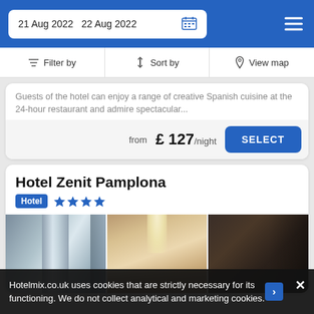21 Aug 2022  22 Aug 2022
Filter by  Sort by  View map
Guests of the hotel can enjoy a range of creative Spanish cuisine at the 24-hour restaurant and admire spectacular...
from £ 127/night
Hotel Zenit Pamplona
Hotel  ★★★★
[Figure (photo): Three-panel hotel photo strip showing a silver elevator door, a warmly lit corridor, and a dark wood-paneled room interior]
Hotelmix.co.uk uses cookies that are strictly necessary for its functioning. We do not collect analytical and marketing cookies.